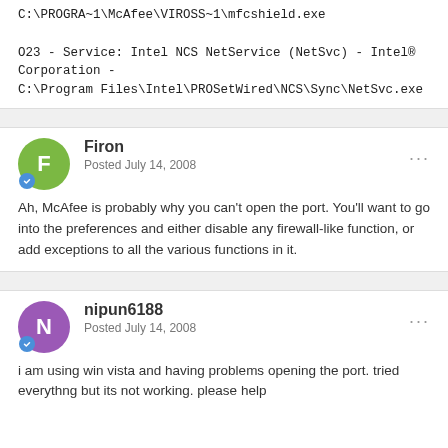C:\PROGRA~1\McAfee\VIROSS~1\mfcshield.exe

O23 - Service: Intel NCS NetService (NetSvc) - Intel® Corporation - C:\Program Files\Intel\PROSetWired\NCS\Sync\NetSvc.exe
Firon
Posted July 14, 2008

Ah, McAfee is probably why you can't open the port. You'll want to go into the preferences and either disable any firewall-like function, or add exceptions to all the various functions in it.
nipun6188
Posted July 14, 2008

i am using win vista and having problems opening the port. tried everythng but its not working. please help